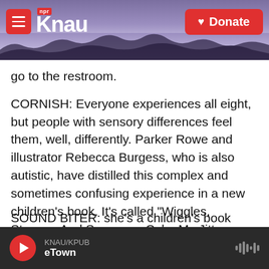KNAU — NPR — Donate
go to the restroom.
CORNISH: Everyone experiences all eight, but people with sensory differences feel them, well, differently. Parker Rowe and illustrator Rebecca Burgess, who is also autistic, have distilled this complex and sometimes confusing experience in a new children's book. It's called "Wiggles, Stomps, And Squeezes Calm My Jitters Down." Parker Rowe says she collected vignettes of her daughter, and that's what the story is based on. It follows a mom and daughter through a day.
KNAU/KPUB — eTown